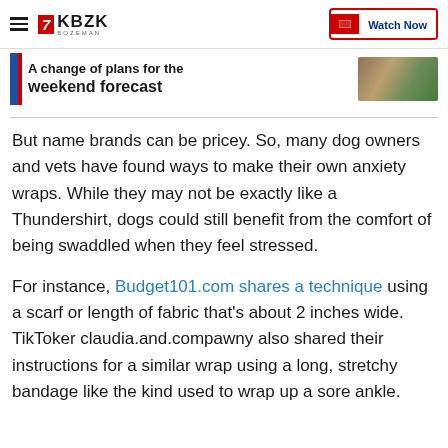KBZK BOZEMAN | Watch Now
A change of plans for the weekend forecast
But name brands can be pricey. So, many dog owners and vets have found ways to make their own anxiety wraps. While they may not be exactly like a Thundershirt, dogs could still benefit from the comfort of being swaddled when they feel stressed.
For instance, Budget101.com shares a technique using a scarf or length of fabric that’s about 2 inches wide. TikToker claudia.and.compawny also shared their instructions for a similar wrap using a long, stretchy bandage like the kind used to wrap up a sore ankle.